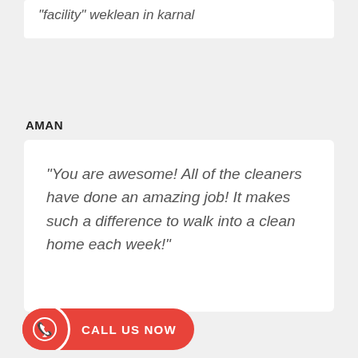“facility” weklean in karnal
AMAN
“You are awesome! All of the cleaners have done an amazing job! It makes such a difference to walk into a clean home each week!”
[Figure (other): Red call-to-action button with phone icon and text CALL US NOW]